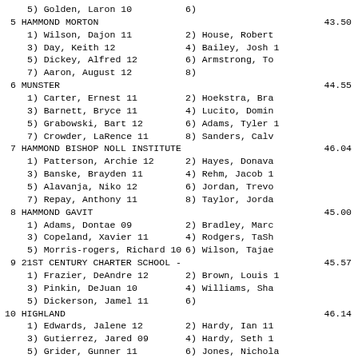5) Golden, Laron 10
6)
5 HAMMOND MORTON
43.50
1) Wilson, Dajon 11
2) House, Robert
3) Day, Keith 12
4) Bailey, Josh 1
5) Dickey, Alfred 12
6) Armstrong, To
7) Aaron, August 12
8)
6 MUNSTER
44.55
1) Carter, Ernest 11
2) Hoekstra, Bra
3) Barnett, Bryce 11
4) Lucito, Domin
5) Grabowski, Bart 12
6) Adams, Tyler 1
7) Crowder, LaRence 11
8) Sanders, Calv
7 HAMMOND BISHOP NOLL INSTITUTE
46.04
1) Patterson, Archie 12
2) Hayes, Donava
3) Banske, Brayden 11
4) Rehm, Jacob 1
5) Alavanja, Niko 12
6) Jordan, Trevo
7) Repay, Anthony 11
8) Taylor, Jorda
8 HAMMOND GAVIT
45.00
1) Adams, Dontae 09
2) Bradley, Marc
3) Copeland, Xavier 11
4) Rodgers, TaSh
5) Morris-rogers, Richard 10
6) Wilson, Tajae
9 21ST CENTURY CHARTER SCHOOL -
45.57
1) Frazier, DeAndre 12
2) Brown, Louis 1
3) Pinkin, DeJuan 10
4) Williams, Sha
5) Dickerson, Jamel 11
6)
10 HIGHLAND
46.14
1) Edwards, Jalene 12
2) Hardy, Ian 11
3) Gutierrez, Jared 09
4) Hardy, Seth 1
5) Grider, Gunner 11
6) Jones, Nichola
-- GARY ROOSEVELT
45.09
1) Ruiz, Jerry 12
2) Coles, Nico 10